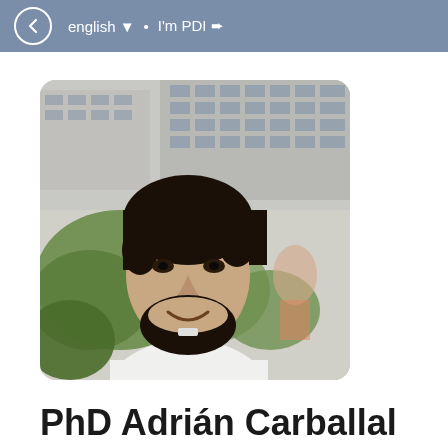english ▼ • I'm PDI ➨
[Figure (photo): Headshot photo of a man with dark hair and beard wearing a white shirt, standing outdoors in front of a modern building with green foliage visible]
PhD Adrián Carballal Mato